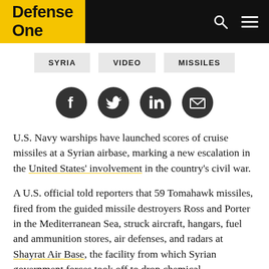Defense One
SYRIA
VIDEO
MISSILES
[Figure (illustration): Social media share icons: Facebook, Twitter, LinkedIn, Email — dark circular buttons]
U.S. Navy warships have launched scores of cruise missiles at a Syrian airbase, marking a new escalation in the United States' involvement in the country's civil war.
A U.S. official told reporters that 59 Tomahawk missiles, fired from the guided missile destroyers Ross and Porter in the Mediterranean Sea, struck aircraft, hangars, fuel and ammunition stores, air defenses, and radars at Shayrat Air Base, the facility from which Syrian government forces took off to drop chemical